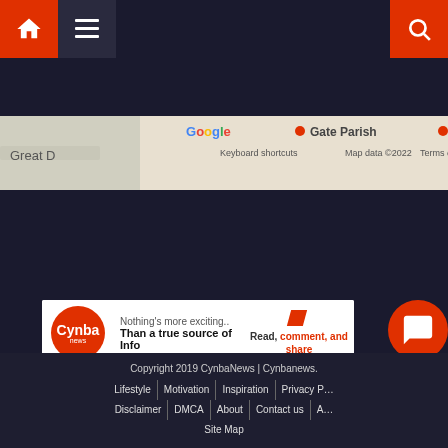[Figure (screenshot): Website navigation bar with home icon, hamburger menu, and search icon on dark blue background with red accents]
[Figure (map): Google Maps strip showing Great D area and Gate Parish, with keyboard shortcuts and map data 2022 copyright notice]
[Figure (screenshot): Cynba advertisement banner: Nothing's more exciting.. Than a true source of Info. Read, comment, and share]
[Figure (screenshot): Deriv advertisement: The new age of online trading. Try free demo button]
[Figure (screenshot): Live chat bubble: LIVE CHAT. Agent Online with red chat icon]
Copyright 2019 CynbaNews | Cynbanews. Lifestyle | Motivation | Inspiration | Privacy P... | Disclaimer | DMCA | About | Contact us | A... | Site Map